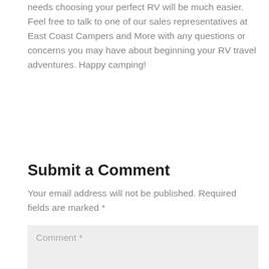needs choosing your perfect RV will be much easier. Feel free to talk to one of our sales representatives at East Coast Campers and More with any questions or concerns you may have about beginning your RV travel adventures. Happy camping!
Submit a Comment
Your email address will not be published. Required fields are marked *
Comment *